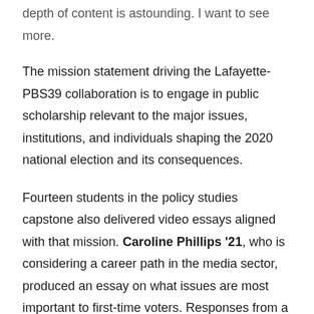depth of content is astounding. I want to see more.
The mission statement driving the Lafayette-PBS39 collaboration is to engage in public scholarship relevant to the major issues, institutions, and individuals shaping the 2020 national election and its consequences.
Fourteen students in the policy studies capstone also delivered video essays aligned with that mission. Caroline Phillips '21, who is considering a career path in the media sector, produced an essay on what issues are most important to first-time voters. Responses from a politically diverse group of Lafayette students are followed by commentary by John Zogby, founder of Zogby Strategies and one of the world's most accurate pollsters. Huslen Dashpurev '22 produced a